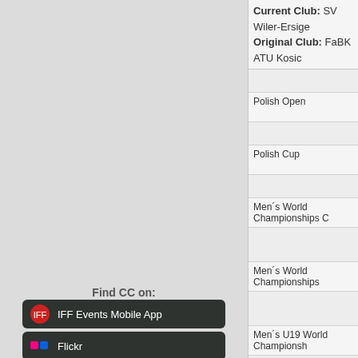Current Club: SV Wiler-Ersiger
Original Club: FaBK ATU Kosice
Polish Open
Polish Cup
Men´s World Championships C
Men´s World Championships
Men´s U19 World Championships
Men´s U19 International Tourn
Men´s International Tourname
Find CC on:
IFF Events Mobile App
Flickr
YouTube
CC Facebook
IFF Facebook
Twitter